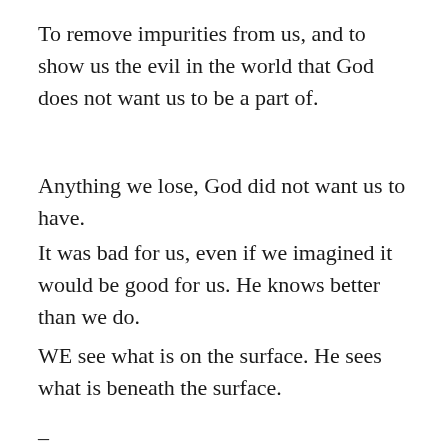To remove impurities from us, and to show us the evil in the world that God does not want us to be a part of.
Anything we lose, God did not want us to have.
It was bad for us, even if we imagined it would be good for us. He knows better than we do.
WE see what is on the surface. He sees what is beneath the surface.
–
[Figure (photo): Black and white photograph of ocean waves with a grey sky above.]